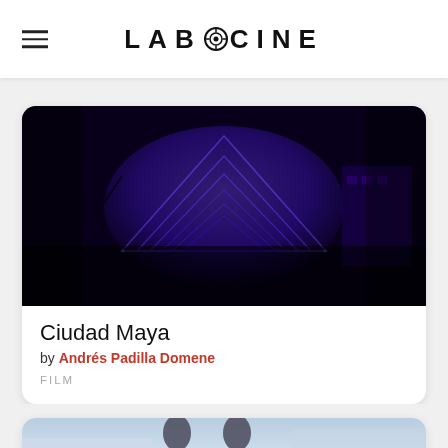LABOCINE
[Figure (screenshot): Dark cinematic still of a Mayan pyramid lit in deep blue/purple light at night, viewed from below looking up, with tree branches silhouetted in foreground]
Ciudad Maya
by Andrés Padilla Domene
FILM
[Figure (screenshot): Partial view of a second film card showing two people outdoors against a light sky, only the top portion visible]